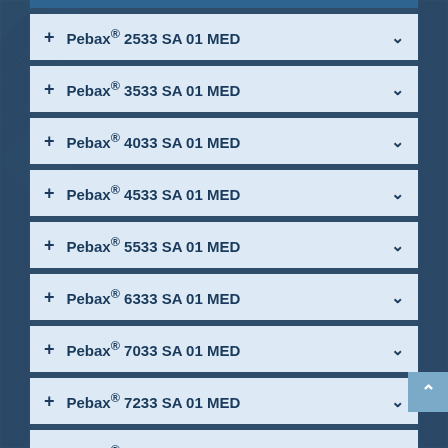+ Pebax® 2533 SA 01 MED
+ Pebax® 3533 SA 01 MED
+ Pebax® 4033 SA 01 MED
+ Pebax® 4533 SA 01 MED
+ Pebax® 5533 SA 01 MED
+ Pebax® 6333 SA 01 MED
+ Pebax® 7033 SA 01 MED
+ Pebax® 7233 SA 01 MED
+ Pebax® 7433 SA 01 MED
Hydrophilic Medical